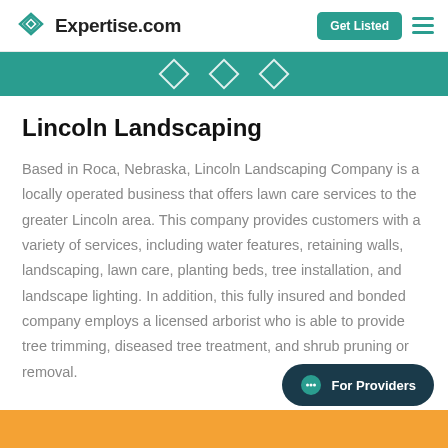Expertise.com | Get Listed
Lincoln Landscaping
Based in Roca, Nebraska, Lincoln Landscaping Company is a locally operated business that offers lawn care services to the greater Lincoln area. This company provides customers with a variety of services, including water features, retaining walls, landscaping, lawn care, planting beds, tree installation, and landscape lighting. In addition, this fully insured and bonded company employs a licensed arborist who is able to provide tree trimming, diseased tree treatment, and shrub pruning or removal.